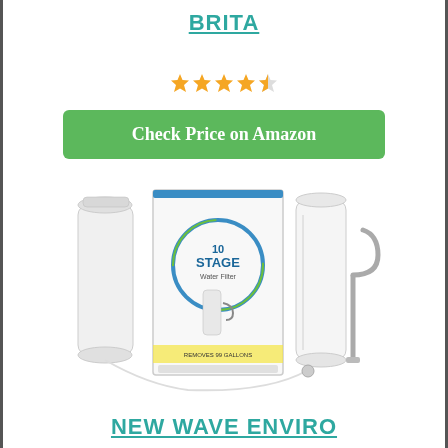BRITA
[Figure (other): 4.5 out of 5 stars rating shown as orange/gold star icons]
Check Price on Amazon
[Figure (photo): 10 Stage water filter product photo showing filter cartridge, box packaging, filter housing unit, and chrome faucet]
NEW WAVE ENVIRO